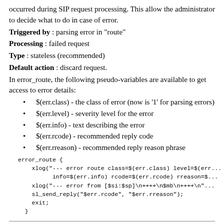occurred during SIP request processing. This allow the administrator to decide what to do in case of error.
Triggered by : parsing error in "route"
Processing : failed request
Type : stateless (recommended)
Default action : discard request.
In error_route, the following pseudo-variables are available to get access to error details:
$(err.class) - the class of error (now is '1' for parsing errors)
$(err.level) - severity level for the error
$(err.info) - text describing the error
$(err.rcode) - recommended reply code
$(err.rreason) - recommended reply reason phrase
error_route {
    xlog("--- error route class=$(err.class) level=$(err...
          info=$(err.info) rcode=$(err.rcode) rreason=$...
    xlog("--- error from [$si:$sp]\n++++\n$mb\n++++\n"...
    sl_send_reply("$err.rcode", "$err.rreason");
    exit;
}
6. local_route
The local route is executed automatically when a new SIP request is generated by TM, internally (no UAC side). This is a route